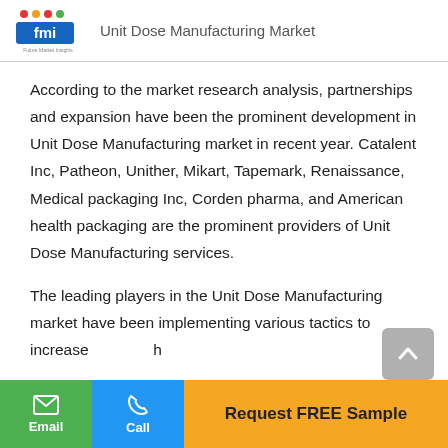Unit Dose Manufacturing Market
According to the market research analysis, partnerships and expansion have been the prominent development in Unit Dose Manufacturing market in recent year. Catalent Inc, Patheon, Unither, Mikart, Tapemark, Renaissance, Medical packaging Inc, Corden pharma, and American health packaging are the prominent providers of Unit Dose Manufacturing services.
The leading players in the Unit Dose Manufacturing market have been implementing various tactics to increase th